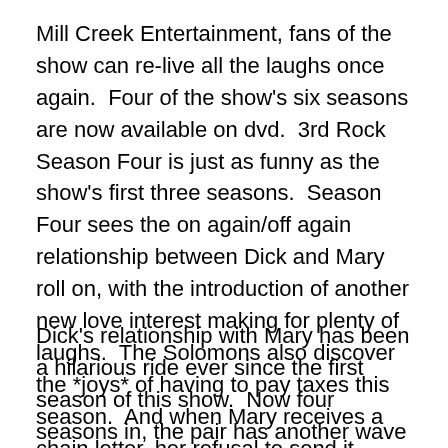Mill Creek Entertainment, fans of the show can re-live all the laughs once again.  Four of the show's six seasons are now available on dvd.  3rd Rock Season Four is just as funny as the show's first three seasons.  Season Four sees the on again/off again relationship between Dick and Mary roll on, with the introduction of another new love interest making for plenty of laughs.  The Solomons also discover the *joys* of having to pay taxes this season.  And when Mary receives a chain letter, her refusal to send it leads to a string of bad luck for her. It all makes for plenty of laughs.
Dick's relationship with Mary has been a hilarious ride ever since the first season of this show.  Now four seasons in, the pair has another wave as the show introduces guest star Laurie Metcalf (Roseanne, The Big Bang Theory) in the episode "What the Luck? Get to the Gettysburg with..."